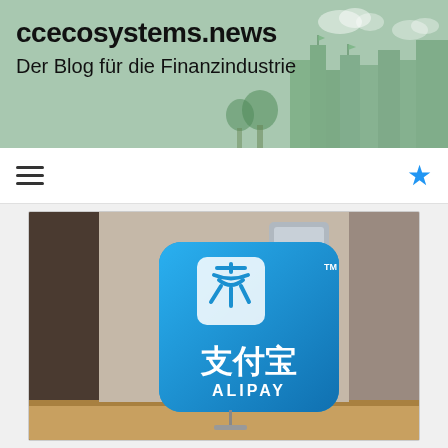ccecosystems.news
Der Blog für die Finanzindustrie
[Figure (photo): Alipay branded display sign (blue square with Alipay logo, Chinese characters 支付宝, and text ALIPAY), sitting on a wooden surface in a shop setting]
[Figure (illustration): Navigation bar with hamburger menu icon on the left and blue star icon on the right]